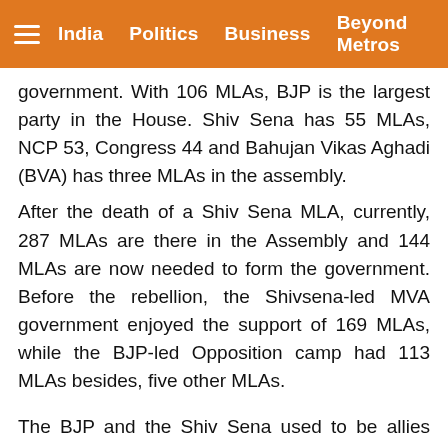India   Politics   Business   Beyond Metros
government. With 106 MLAs, BJP is the largest party in the House. Shiv Sena has 55 MLAs, NCP 53, Congress 44 and Bahujan Vikas Aghadi (BVA) has three MLAs in the assembly.
After the death of a Shiv Sena MLA, currently, 287 MLAs are there in the Assembly and 144 MLAs are now needed to form the government. Before the rebellion, the Shivsena-led MVA government enjoyed the support of 169 MLAs, while the BJP-led Opposition camp had 113 MLAs besides, five other MLAs.
The BJP and the Shiv Sena used to be allies until 2019 when after contesting the Maharashtra Assembly elections together both parted ways over the issue of the chief ministerial's post. Following days of the political impasso